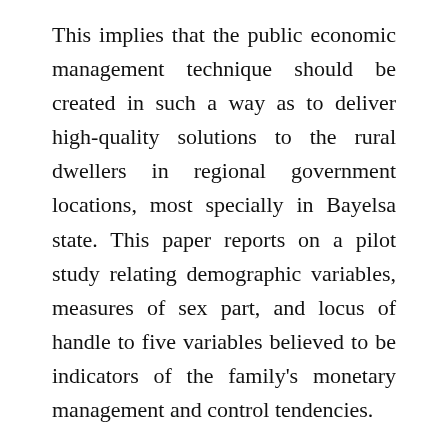This implies that the public economic management technique should be created in such a way as to deliver high-quality solutions to the rural dwellers in regional government locations, most specially in Bayelsa state. This paper reports on a pilot study relating demographic variables, measures of sex part, and locus of handle to five variables believed to be indicators of the family's monetary management and control tendencies.
It is important for financial management educators to realize the circumstances supportive of adoption of economic management practices. Fundamentally, this chapter covers the